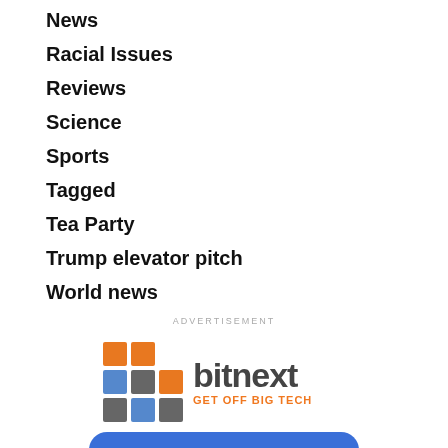News
Racial Issues
Reviews
Science
Sports
Tagged
Tea Party
Trump elevator pitch
World news
ADVERTISEMENT
[Figure (logo): Bitnext advertisement with cube logo. Text reads: bitnext GET OFF BIG TECH SUPER SECURE TOTALLY PRIVATE]